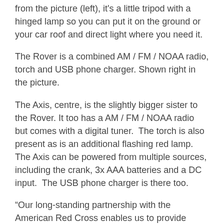from the picture (left), it's a little tripod with a hinged lamp so you can put it on the ground or your car roof and direct light where you need it.
The Rover is a combined AM / FM / NOAA radio, torch and USB phone charger. Shown right in the picture.
The Axis, centre, is the slightly bigger sister to the Rover. It too has a AM / FM / NOAA radio but comes with a digital tuner. The torch is also present as is an additional flashing red lamp. The Axis can be powered from multiple sources, including the crank, 3x AAA batteries and a DC input. The USB phone charger is there too.
“Our long-standing partnership with the American Red Cross enables us to provide products that help our friends and families stay prepared for unexpected situations,” says Esmail Hozour, CEO